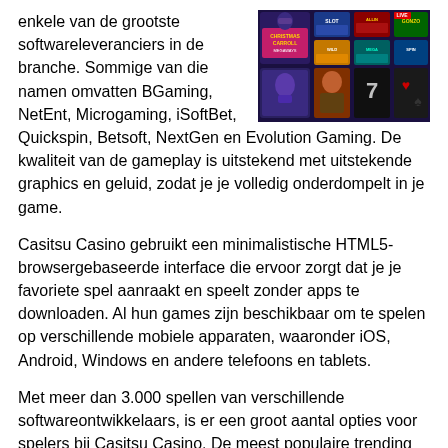enkele van de grootste softwareleveranciers in de branche. Sommige van die namen omvatten BGaming, NetEnt, Microgaming, iSoftBet, Quickspin, Betsoft, NextGen en Evolution Gaming. De kwaliteit van de gameplay is uitstekend met uitstekende graphics en geluid, zodat je je volledig onderdompelt in je game.
[Figure (screenshot): Screenshot of Casitsu Casino game lobby showing various slot game thumbnails including Christmas Carroll Megaways and other colorful game tiles on a dark background.]
Casitsu Casino gebruikt een minimalistische HTML5-browsergebaseerde interface die ervoor zorgt dat je je favoriete spel aanraakt en speelt zonder apps te downloaden. Al hun games zijn beschikbaar om te spelen op verschillende mobiele apparaten, waaronder iOS, Android, Windows en andere telefoons en tablets.
Met meer dan 3.000 spellen van verschillende softwareontwikkelaars, is er een groot aantal opties voor spelers bij Casitsu Casino. De meest populaire trending slots zijn onder andere Starburst, Wolf Gold, Gonzo's Quest,